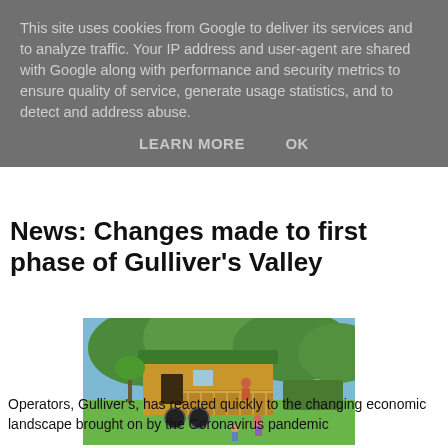This site uses cookies from Google to deliver its services and to analyze traffic. Your IP address and user-agent are shared with Google along with performance and security metrics to ensure quality of service, generate usage statistics, and to detect and address abuse.
LEARN MORE   OK
News: Changes made to first phase of Gulliver's Valley
[Figure (photo): A wooden cabin/shepherd's hut on wheels with a green roof and a small porch with wooden railings. Trees in the background. Two children playing on the grass in front, one wearing a pink hat. An adult stands on the porch.]
Operators, Gulliver's, has reacted quickly to the changing economic landscape brought on by the Coronavirus pandemic...